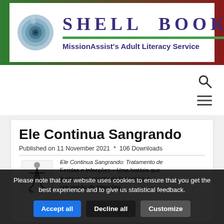[Figure (logo): Shell Books logo banner with shell image, 'SHELL BOOKS' title in purple serif font, green underline, and subtitle 'MissionAssist's Adult Literacy Service' on white background with green-to-dark-red gradient border]
[Figure (other): Navigation area with search icon (magnifying glass) and hamburger menu icon on white background]
Ele Continua Sangrando
Published on 11 November 2021  *  106 Downloads
[Figure (illustration): Book illustration showing a figure with a bleeding foot and text describing the book content in Portuguese: 'Ele Continua Sangrando: Tratamento de Feridas e Infecções – Uma história que ilustra o tratamento de ferimentos']
Please note that our website uses cookies to ensure that you get the best experience and to give us statistical feedback.
Accept all  Decline all  Customize